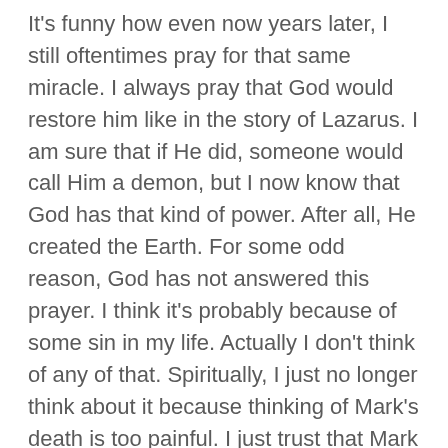It's funny how even now years later, I still oftentimes pray for that same miracle. I always pray that God would restore him like in the story of Lazarus. I am sure that if He did, someone would call Him a demon, but I now know that God has that kind of power. After all, He created the Earth. For some odd reason, God has not answered this prayer. I think it's probably because of some sin in my life. Actually I don't think of any of that. Spiritually, I just no longer think about it because thinking of Mark's death is too painful. I just trust that Mark is where he is supposed to be for a reason.